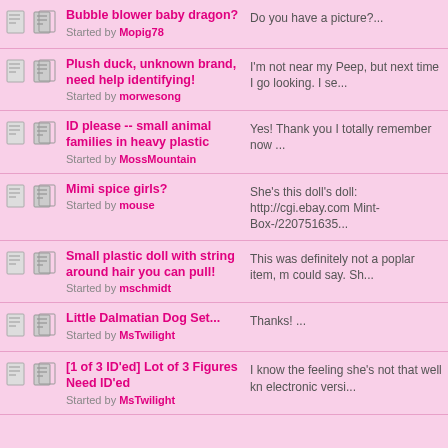Bubble blower baby dragon? Started by Mopig78 | Do you have a picture?...
Plush duck, unknown brand, need help identifying! Started by morwesong | I'm not near my Peep, but next time I go looking. I se...
ID please -- small animal families in heavy plastic Started by MossMountain | Yes! Thank you I totally remember now ...
Mimi spice girls? Started by mouse | She's this doll's doll: http://cgi.ebay.com Mint-Box-/220751635...
Small plastic doll with string around hair you can pull! Started by mschmidt | This was definitely not a poplar item, m could say. Sh...
Little Dalmatian Dog Set... Started by MsTwilight | Thanks! ...
[1 of 3 ID'ed] Lot of 3 Figures Need ID'ed Started by MsTwilight | I know the feeling she's not that well kn electronic versi...